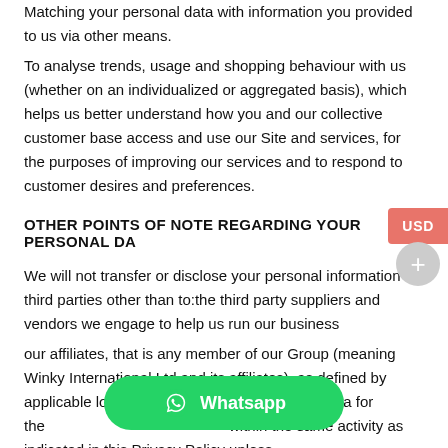Matching your personal data with information you provided to us via other means.
To analyse trends, usage and shopping behaviour with us (whether on an individualized or aggregated basis), which helps us better understand how you and our collective customer base access and use our Site and services, for the purposes of improving our services and to respond to customer desires and preferences.
OTHER POINTS OF NOTE REGARDING YOUR PERSONAL DA...
We will not transfer or disclose your personal information to third parties other than to:the third party suppliers and vendors we engage to help us run our business
our affiliates, that is any member of our Group (meaning Winky International Ltd and its affiliates), as defined by applicable local law, in order to process your data for the... within the same activity as indicated in this Privacy Policy unless